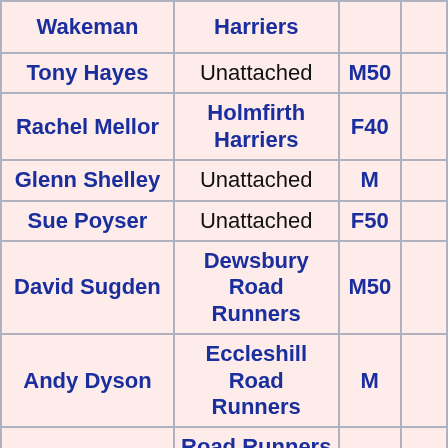| Name | Club | Category |  |
| --- | --- | --- | --- |
| Wakeman | Harriers |  |  |
| Tony Hayes | Unattached | M50 | 4 |
| Rachel Mellor | Holmfirth Harriers | F40 | 4 |
| Glenn Shelley | Unattached | M | 4 |
| Sue Poyser | Unattached | F50 | 4 |
| David Sugden | Dewsbury Road Runners | M50 | 4 |
| Andy Dyson | Eccleshill Road Runners | M | 4 |
| Tim Pocock | Road Runners Club | M45 | 4 |
|  |  |  |  |